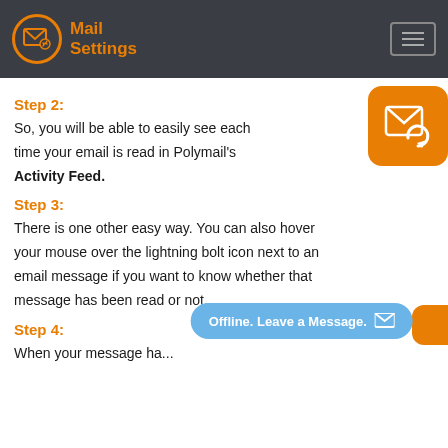Mail Settings
Step 2:
So, you will be able to easily see each time your email is read in Polymail's Activity Feed.
[Figure (logo): Orange envelope with refresh arrow icon in a rounded square]
Step 3:
There is one other easy way. You can also hover your mouse over the lightning bolt icon next to an email message if you want to know whether that message has been read or not.
Step 4:
When your message ha...
[Figure (screenshot): Blue pill-shaped button: Offline. Leave a Message. with envelope icon]